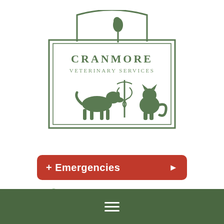[Figure (logo): Cranmore Veterinary Services logo: green rectangular sign with arched top, featuring silhouettes of a parrot on a perch, a dog, a cat, and a caduceus symbol. Text reads CRANMORE VETERINARY SERVICES.]
+ Emergencies ▶
01244 851568
Email us
[Figure (other): Hamburger menu icon (three horizontal white lines) on a dark green footer bar.]